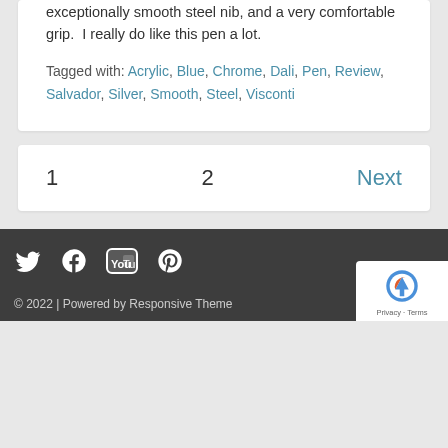exceptionally smooth steel nib, and a very comfortable grip.  I really do like this pen a lot.
Tagged with: Acrylic, Blue, Chrome, Dali, Pen, Review, Salvador, Silver, Smooth, Steel, Visconti
1    2    Next
© 2022 | Powered by Responsive Theme